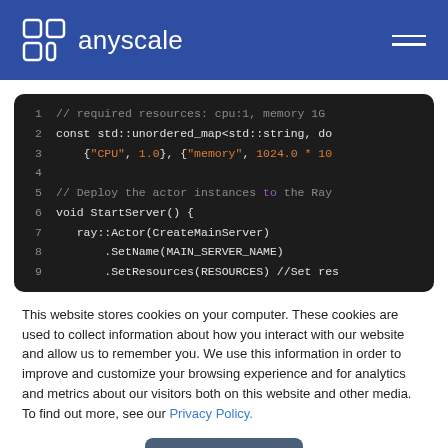anyscale
[Figure (screenshot): Code editor screenshot showing C++ code with lines 1-9. Line 1: // required resources: cpu:1, memory 1G. Line 2: const std::unordered_map<std::string, do. Line 3: {"CPU", 1.0}, {"memory", 1024.0 * 10. Line 4: (empty). Line 5: // Deploy the actor instances to the Ray. Line 6: void StartServer() {. Line 7: ray::Actor(CreateMainServer). Line 8: .SetName(MAIN_SERVER_NAME). Line 9: .SetResources(RESOURCES) //Set res]
This website stores cookies on your computer. These cookies are used to collect information about how you interact with our website and allow us to remember you. We use this information in order to improve and customize your browsing experience and for analytics and metrics about our visitors both on this website and other media. To find out more, see our Privacy Policy.
Accept